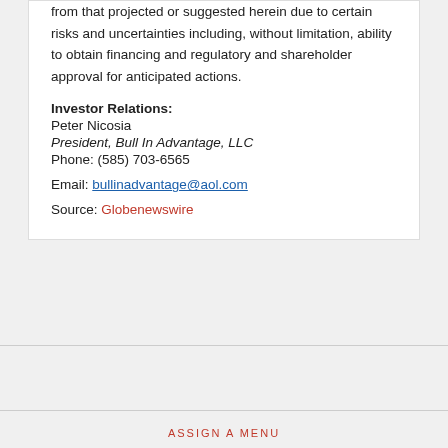from that projected or suggested herein due to certain risks and uncertainties including, without limitation, ability to obtain financing and regulatory and shareholder approval for anticipated actions.
Investor Relations:
Peter Nicosia
President, Bull In Advantage, LLC
Phone: (585) 703-6565
Email: bullinadvantage@aol.com
Source: Globenewswire
ASSIGN A MENU